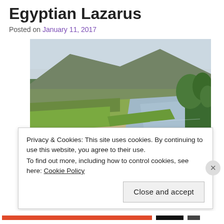Egyptian Lazarus
Posted on January 11, 2017
[Figure (photo): A river scene with gravel banks, green fields, trees on the right bank, and a large hill/mountain in the background under an overcast sky.]
Privacy & Cookies: This site uses cookies. By continuing to use this website, you agree to their use.
To find out more, including how to control cookies, see here: Cookie Policy
Close and accept